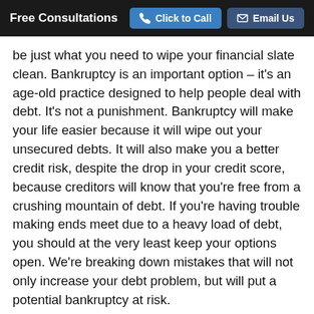Free Consultations | Click to Call | Email Us
be just what you need to wipe your financial slate clean. Bankruptcy is an important option – it's an age-old practice designed to help people deal with debt. It's not a punishment. Bankruptcy will make your life easier because it will wipe out your unsecured debts. It will also make you a better credit risk, despite the drop in your credit score, because creditors will know that you're free from a crushing mountain of debt. If you're having trouble making ends meet due to a heavy load of debt, you should at the very least keep your options open. We're breaking down mistakes that will not only increase your debt problem, but will put a potential bankruptcy at risk.